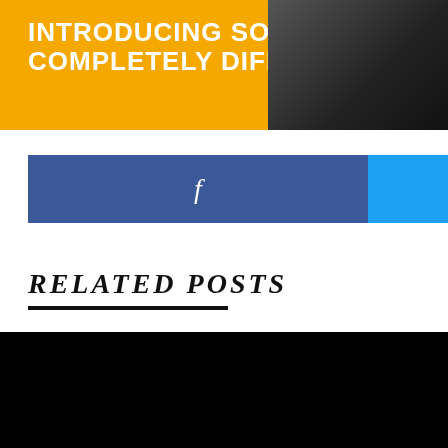[Figure (illustration): Advertisement banner with yellow/orange background showing text 'INTRODUCING SOMETHING COMPLETELY DIFFERENT.' with a firearm image on the right side]
[Figure (illustration): Facebook share button — dark blue rectangle with white letter 'f' centered, followed by a cyan/light blue button partially cut off on the right]
RELATED POSTS
[Figure (photo): Black/dark image — bottom portion of the page, a related post thumbnail that is mostly black]